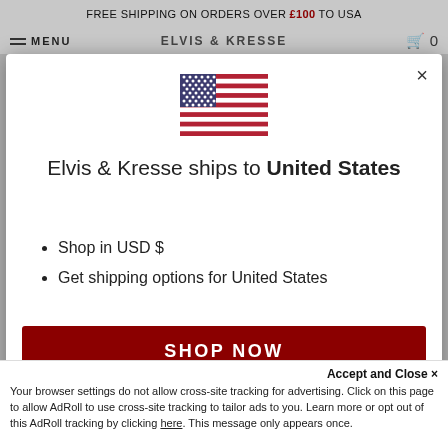FREE SHIPPING ON ORDERS OVER £100 TO USA
MENU  ELVIS & KRESSE
[Figure (illustration): US flag emoji/icon]
Elvis & Kresse ships to United States
Shop in USD $
Get shipping options for United States
SHOP NOW
CHANGE SHIPPING COUNTRY
Accept and Close ×
Your browser settings do not allow cross-site tracking for advertising. Click on this page to allow AdRoll to use cross-site tracking to tailor ads to you. Learn more or opt out of this AdRoll tracking by clicking here. This message only appears once.